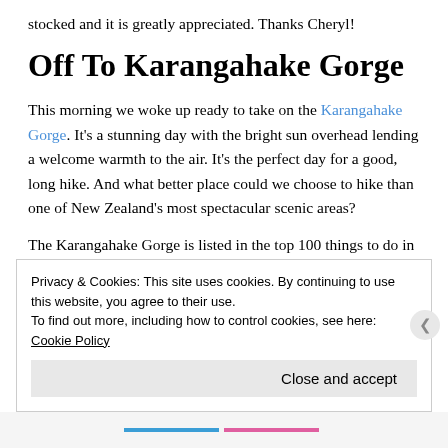stocked and it is greatly appreciated. Thanks Cheryl!
Off To Karangahake Gorge
This morning we woke up ready to take on the Karangahake Gorge. It's a stunning day with the bright sun overhead lending a welcome warmth to the air. It's the perfect day for a good, long hike. And what better place could we choose to hike than one of New Zealand's most spectacular scenic areas?
The Karangahake Gorge is listed in the top 100 things to do in the entire country. We drove past it on our way up to the Coromandel and from the road it looked incredible so we
Privacy & Cookies: This site uses cookies. By continuing to use this website, you agree to their use.
To find out more, including how to control cookies, see here: Cookie Policy
Close and accept